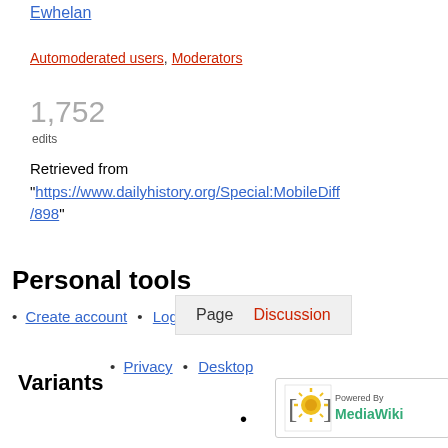Ewhelan
Automoderated users, Moderators
1,752 edits
Retrieved from "https://www.dailyhistory.org/Special:MobileDiff/898"
Personal tools
Create account • Log in
Page  Discussion
• Privacy • Desktop
Variants
[Figure (logo): Powered by MediaWiki logo]
•